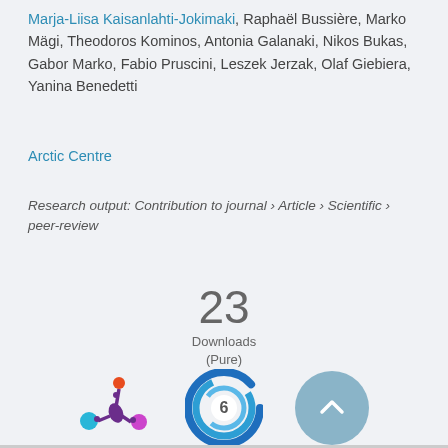Marja-Liisa Kaisanlahti-Jokimaki, Raphaël Bussière, Marko Mägi, Theodoros Kominos, Antonia Galanaki, Nikos Bukas, Gabor Marko, Fabio Pruscini, Leszek Jerzak, Olaf Giebiera, Yanina Benedetti
Arctic Centre
Research output: Contribution to journal › Article › Scientific › peer-review
23
Downloads
(Pure)
[Figure (logo): Altmetric starburst logo with orange, cyan, and magenta colored dots]
[Figure (logo): Scopus/Elsevier blue circular swirl logo with number 6 in center]
[Figure (other): Blue scroll-to-top button with upward chevron arrow]